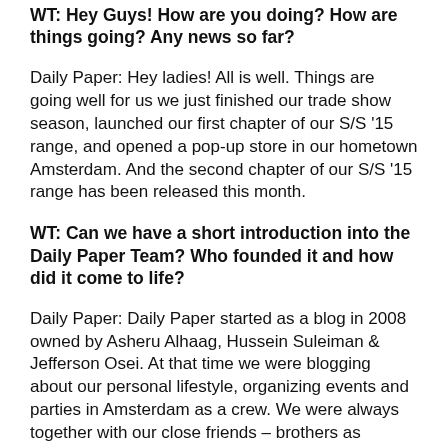WT: Hey Guys! How are you doing? How are things going? Any news so far?
Daily Paper: Hey ladies! All is well. Things are going well for us we just finished our trade show season, launched our first chapter of our S/S '15 range, and opened a pop-up store in our hometown Amsterdam. And the second chapter of our S/S '15 range has been released this month.
WT: Can we have a short introduction into the Daily Paper Team? Who founded it and how did it come to life?
Daily Paper: Daily Paper started as a blog in 2008 owned by Asheru Alhaag, Hussein Suleiman & Jefferson Osei. At that time we were blogging about our personal lifestyle, organizing events and parties in Amsterdam as a crew. We were always together with our close friends – brothers as